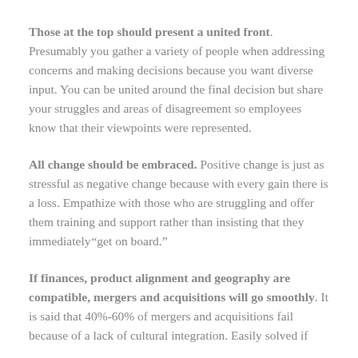Those at the top should present a united front. Presumably you gather a variety of people when addressing concerns and making decisions because you want diverse input. You can be united around the final decision but share your struggles and areas of disagreement so employees know that their viewpoints were represented.
All change should be embraced. Positive change is just as stressful as negative change because with every gain there is a loss. Empathize with those who are struggling and offer them training and support rather than insisting that they immediately "get on board."
If finances, product alignment and geography are compatible, mergers and acquisitions will go smoothly. It is said that 40%-60% of mergers and acquisitions fail because of a lack of cultural integration. Easily solved if